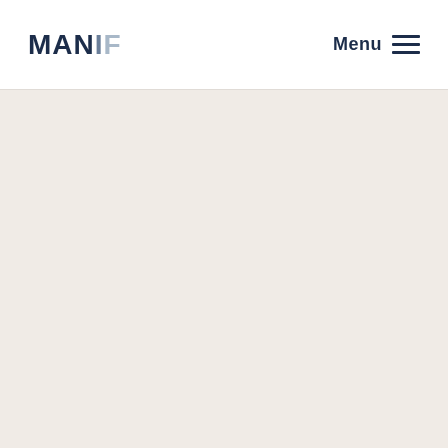MANIF  Menu
[Figure (other): Empty content area with off-white/beige background]